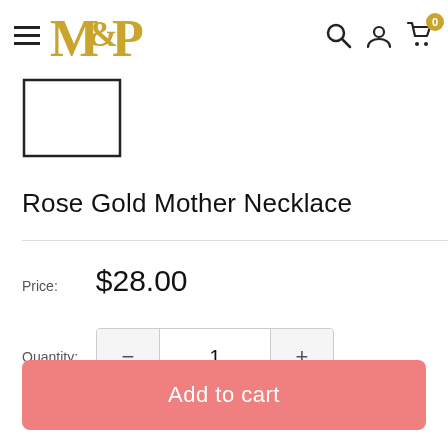M&P logo with hamburger menu, search, account, cart (0) icons
[Figure (illustration): Product image placeholder — empty rectangle outline (no image loaded)]
Rose Gold Mother Necklace
Price: $28.00
Quantity: 1
Add to cart